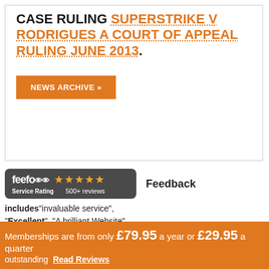CASE RULING SUPERSTRIKE V RODRIGUES A COURT OF APPEAL RULING JUNE 2013.
NEWS ARCHIVE »
[Figure (logo): Feefo service rating badge with 5 stars and 500+ reviews, followed by Feedback text]
[Figure (infographic): Yellow burst shape with text: FREE Tenant Credit Checks - Ready in seconds TRY NOW]
includes "invaluable service", "Excellent", "A brilliant Website",
Memberships are from only £79.95 a year or £29.95 a quarter
outstanding   Read Reviews